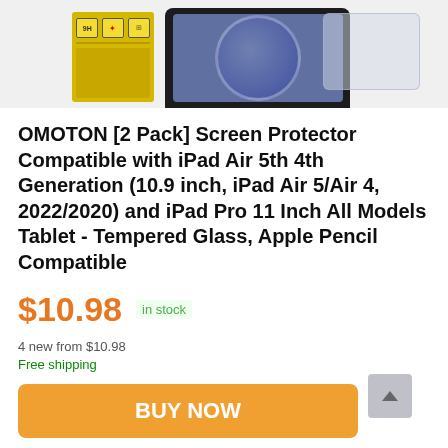[Figure (photo): Product photo showing OMOTON screen protector packaging (yellow box with 9H icons) alongside an iPad with a tempered glass protector and separate glass overlay]
OMOTON [2 Pack] Screen Protector Compatible with iPad Air 5th 4th Generation (10.9 inch, iPad Air 5/Air 4, 2022/2020) and iPad Pro 11 Inch All Models Tablet - Tempered Glass, Apple Pencil Compatible
$10.98  in stock
4 new from $10.98
Free shipping
BUY NOW